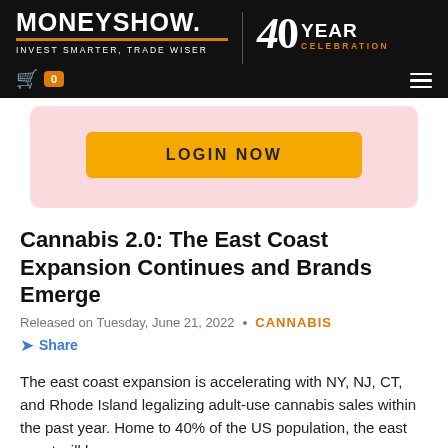MONEYSHOW. INVEST SMARTER, TRADE WISER | 40 YEAR CELEBRATION
[Figure (screenshot): LOGIN NOW button on a pink/salmon background]
Cannabis 2.0: The East Coast Expansion Continues and Brands Emerge
Released on Tuesday, June 21, 2022 • CANNABIS
Share
The east coast expansion is accelerating with NY, NJ, CT, and Rhode Island legalizing adult-use cannabis sales within the past year. Home to 40% of the US population, the east coast will be a